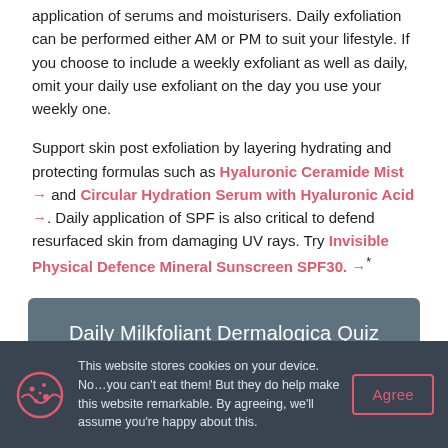…Exfoliation is typically carried out after cleansing and before application of serums and moisturisers. Daily exfoliation can be performed either AM or PM to suit your lifestyle. If you choose to include a weekly exfoliant as well as daily, omit your daily use exfoliant on the day you use your weekly one.
Support skin post exfoliation by layering hydrating and protecting formulas such as Hyaluronic Ceramide Mist → and Circular Hydration Serum with Hyaluronic Acid →. Daily application of SPF is also critical to defend resurfaced skin from damaging UV rays. Try Invisible Physical Defence Mineral Sunscreen SPF30. →*
Daily Milkfoliant Dermalogica Quiz
This website stores cookies on your device. No…you can't eat them! But they do help make this website remarkable. By agreeing, we'll assume you're happy about this.